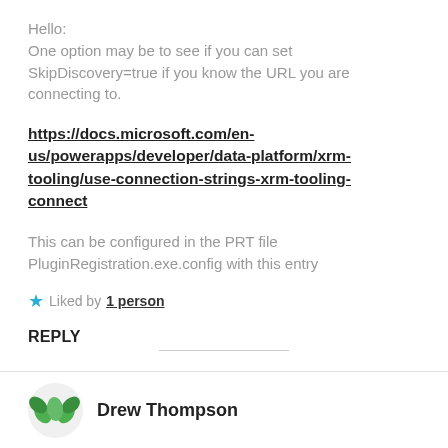Hello:
One option may be to see if you can set SkipDiscovery=true if you know the URL you are connecting to.
https://docs.microsoft.com/en-us/powerapps/developer/data-platform/xrm-tooling/use-connection-strings-xrm-tooling-connect
This can be configured in the PRT file PluginRegistration.exe.config with this entry
Liked by 1 person
REPLY
Drew Thompson